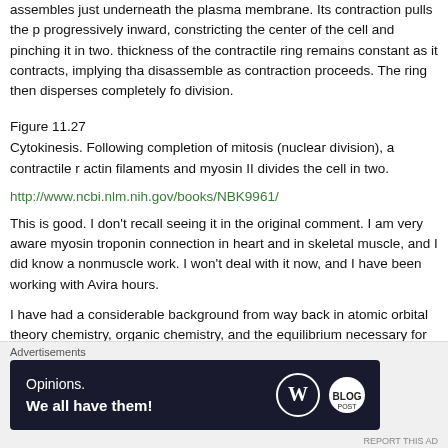assembles just underneath the plasma membrane. Its contraction pulls the progressively inward, constricting the center of the cell and pinching it in two. thickness of the contractile ring remains constant as it contracts, implying tha disassemble as contraction proceeds. The ring then disperses completely fo division.
Figure 11.27
Cytokinesis. Following completion of mitosis (nuclear division), a contractile r actin filaments and myosin II divides the cell in two.
http://www.ncbi.nlm.nih.gov/books/NBK9961/
This is good. I don't recall seeing it in the original comment. I am very aware myosin troponin connection in heart and in skeletal muscle, and I did know a nonmuscle work. I won't deal with it now, and I have been working with Avira hours.
I have had a considerable background from way back in atomic orbital theory chemistry, organic chemistry, and the equilibrium necessary for cations and a the calcium role in contraction, I would not discount hypomagnesemia in hav because of the intracellular-extracellular connection. The description you pas
[Figure (infographic): WordPress advertisement banner reading 'Opinions. We all have them!' with WordPress and another logo on dark background]